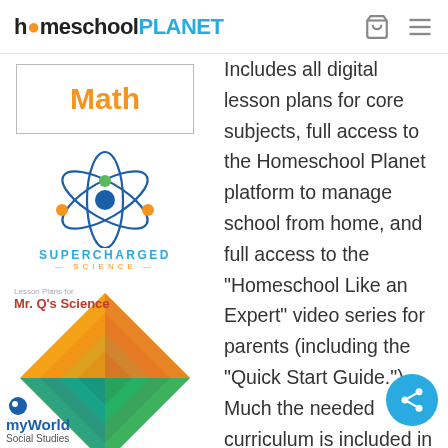homeschoolPLANET
[Figure (logo): Math subject box with orange bold 'Math' text inside a rectangular border]
[Figure (logo): Supercharged Science logo with atom graphic in blue, green, and orange, with 'SUPERCHARGED SCIENCE' text below]
[Figure (illustration): Lesson Plans for Mr. Q's Science book cover with colorful geometric diamond/triangle design in teal, orange, red, yellow]
[Figure (logo): myWorld Social Studies logo]
Includes all digital lesson plans for core subjects, full access to the Homeschool Planet platform to manage school from home, and full access to the “Homeschool Like an Expert” video series for parents (including the “Quick Start Guide.”) Much the needed curriculum is included in the